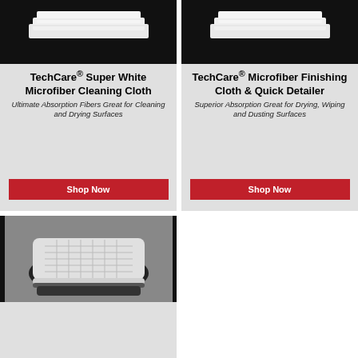[Figure (photo): White microfiber cloth folded, on black background]
TechCare® Super White Microfiber Cleaning Cloth
Ultimate Absorption Fibers Great for Cleaning and Drying Surfaces
[Figure (photo): White microfiber cloth folded, on black background]
TechCare® Microfiber Finishing Cloth & Quick Detailer
Superior Absorption Great for Drying, Wiping and Dusting Surfaces
[Figure (photo): White waffle-weave microfiber cloth folded on dark background]